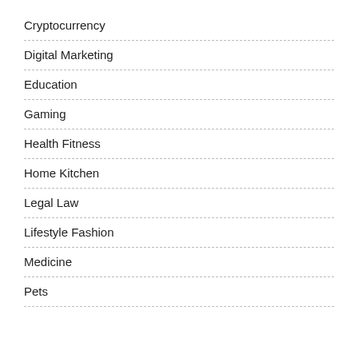Cryptocurrency
Digital Marketing
Education
Gaming
Health Fitness
Home Kitchen
Legal Law
Lifestyle Fashion
Medicine
Pets